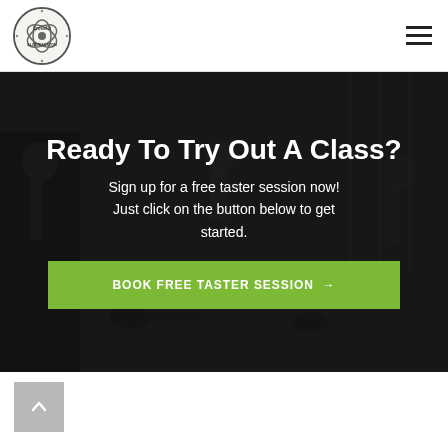[Figure (logo): CrossFit Aldermaston circular logo with globe/compass design]
[Figure (other): Hamburger menu icon (three horizontal lines)]
[Figure (photo): Dark gym background photo with people exercising]
Ready To Try Out A Class?
Sign up for a free taster session now! Just click on the button below to get started.
BOOK FREE TASTER SESSION →
[Figure (other): Back to top button (grey square with upward chevron)]